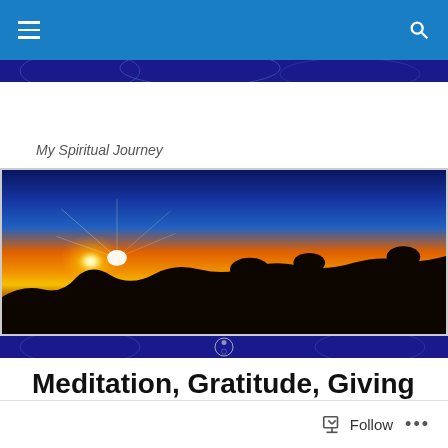☰  🔍
My Spiritual Journey
[Figure (photo): Wide panoramic sunset photo showing a bright sun on the horizon with orange and yellow sky gradients, silhouetted hills and observatory domes in the foreground against deep blue upper sky]
Meditation, Gratitude, Giving Thanks and Joy
[Figure (photo): Two partial thumbnail images of plants/flowers at the bottom of the page]
Follow  •••